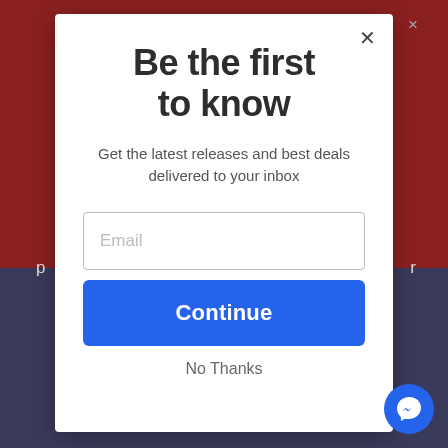Be the first to know
Get the latest releases and best deals delivered to your inbox
Email
Continue
No Thanks